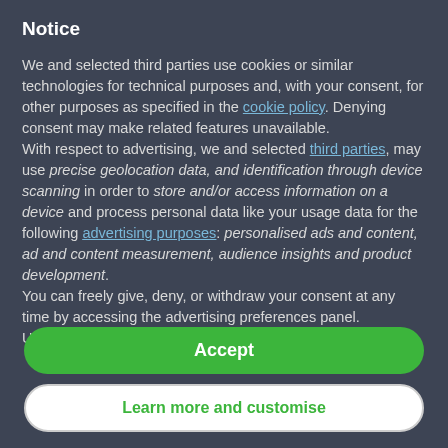Notice
We and selected third parties use cookies or similar technologies for technical purposes and, with your consent, for other purposes as specified in the cookie policy. Denying consent may make related features unavailable.
With respect to advertising, we and selected third parties, may use precise geolocation data, and identification through device scanning in order to store and/or access information on a device and process personal data like your usage data for the following advertising purposes: personalised ads and content, ad and content measurement, audience insights and product development.
You can freely give, deny, or withdraw your consent at any time by accessing the advertising preferences panel.
Use the "Accept" button to consent to the use of such
Accept
Learn more and customise